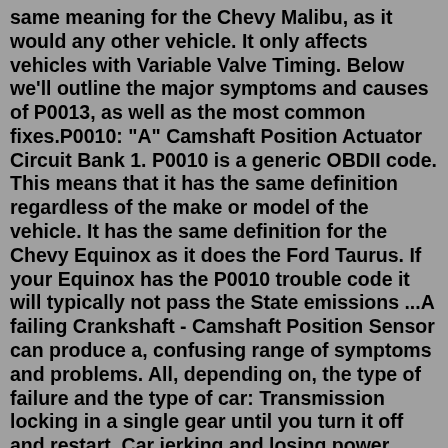same meaning for the Chevy Malibu, as it would any other vehicle. It only affects vehicles with Variable Valve Timing. Below we'll outline the major symptoms and causes of P0013, as well as the most common fixes.P0010: "A" Camshaft Position Actuator Circuit Bank 1. P0010 is a generic OBDII code. This means that it has the same definition regardless of the make or model of the vehicle. It has the same definition for the Chevy Equinox as it does the Ford Taurus. If your Equinox has the P0010 trouble code it will typically not pass the State emissions ...A failing Crankshaft - Camshaft Position Sensor can produce a, confusing range of symptoms and problems. All, depending on, the type of failure and the type of car: Transmission locking in a single gear until you turn it off and restart. Car jerking and losing power. Loss of engine power; for example, no acceleration above 35 mph.2. Poor Drivability. A failing camshaft position sensor begins losing its ability to quickly transfer data. Mismatched fuel delivery and ignition timing, even if off by a few